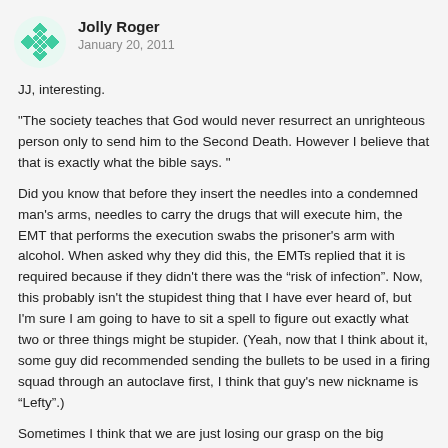[Figure (illustration): Green diamond/cross pattern avatar icon for user Jolly Roger]
Jolly Roger
January 20, 2011
JJ, interesting.
"The society teaches that God would never resurrect an unrighteous person only to send him to the Second Death. However I believe that that is exactly what the bible says. "
Did you know that before they insert the needles into a condemned man's arms, needles to carry the drugs that will execute him, the EMT that performs the execution swabs the prisoner's arm with alcohol. When asked why they did this, the EMTs replied that it is required because if they didn't there was the “risk of infection”. Now, this probably isn't the stupidest thing that I have ever heard of, but I'm sure I am going to have to sit a spell to figure out exactly what two or three things might be stupider. (Yeah, now that I think about it, some guy did recommended sending the bullets to be used in a firing squad through an autoclave first, I think that guy's new nickname is “Lefty”.)
Sometimes I think that we are just losing our grasp on the big picture.
What would be the purpose in resurrecting a person so